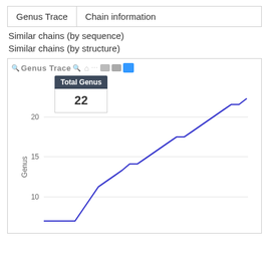| Genus Trace | Chain information |
| --- | --- |
Similar chains (by sequence)
Similar chains (by structure)
[Figure (line-chart): Step-wise line chart showing cumulative Genus count rising from near 0 to 22 over time. Tooltip shows Total Genus = 22.]